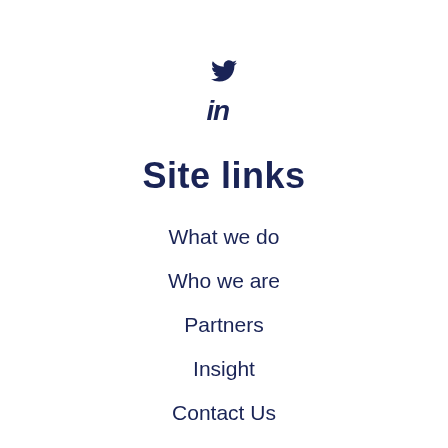[Figure (logo): Twitter bird icon (dark navy)]
[Figure (logo): LinkedIn 'in' icon (dark navy)]
Site links
What we do
Who we are
Partners
Insight
Contact Us
Free Discovery Call
Our Privacy Policy